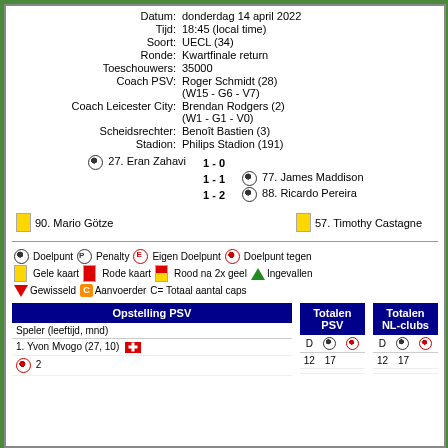| Datum: | donderdag 14 april 2022 |
| Tijd: | 18:45 (local time) |
| Soort: | UECL (34) |
| Ronde: | Kwartfinale return |
| Toeschouwers: | 35000 |
| Coach PSV: | Roger Schmidt (28)
(W15 - G6 - V7) |
| Coach Leicester City: | Brendan Rodgers (2)
(W1 - G1 - V0) |
| Scheidsrechter: | Benoît Bastien (3) |
| Stadion: | Philips Stadion (191) |
⚽ 27. Eran Zahavi   1 - 0
1 - 1   ⚽ 77. James Maddison
1 - 2   ⚽ 88. Ricardo Pereira
🟨 90. Mario Götze   🟨 57. Timothy Castagne
⚽ Doelpunt 🅿 Penalty 🅴 Eigen Doelpunt 🔴 Doelpunt tegen
🟨 Gele kaart 🟥 Rode kaart 🟥🟨 Rood na 2x geel 🔺 Ingevallen
🔻 Gewisseld 🅲 Aanvoerder C= Totaal aantal caps
| Opstelling PSV | Totalen PSV D ⚽ 🔴 | Totalen NL-clubs D ⚽ 🔴 |
| --- | --- | --- |
| 1. Yvon Mvogo (27, 10) 🇨🇭 | 12 | 17 | 12 | 17 |
| ⚽ 2 |  |  |  |  |